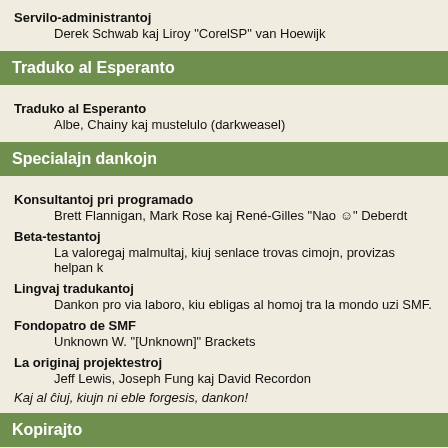Servilo-administrantoj
Derek Schwab kaj Liroy "CorelSP" van Hoewijk
Traduko al Esperanto
Traduko al Esperanto
Albe, Chainy kaj mustelulo (darkweasel)
Specialajn dankojn
Konsultantoj pri programado
Brett Flannigan, Mark Rose kaj René-Gilles "Nao ☺" Deberdt
Beta-testantoj
La valoregaj malmultaj, kiuj senlace trovas cimojn, provizas helpan k
Lingvaj tradukantoj
Dankon pro via laboro, kiu ebligas al homoj tra la mondo uzi SMF.
Fondopatro de SMF
Unknown W. "[Unknown]" Brackets
La originaj projektestroj
Jeff Lewis, Joseph Fung kaj David Recordon
Kaj al ĉiuj, kiujn ni eble forgesis, dankon!
Kopirajto